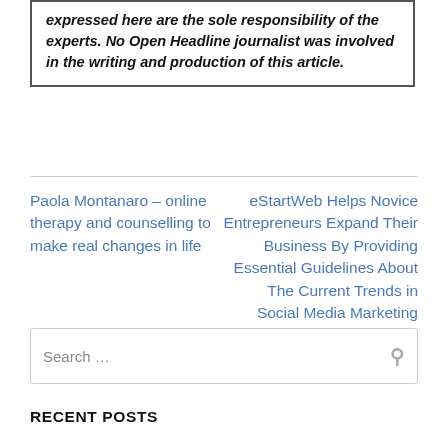expressed here are the sole responsibility of the experts. No Open Headline journalist was involved in the writing and production of this article.
Paola Montanaro – online therapy and counselling to make real changes in life
eStartWeb Helps Novice Entrepreneurs Expand Their Business By Providing Essential Guidelines About The Current Trends in Social Media Marketing
Search …
RECENT POSTS